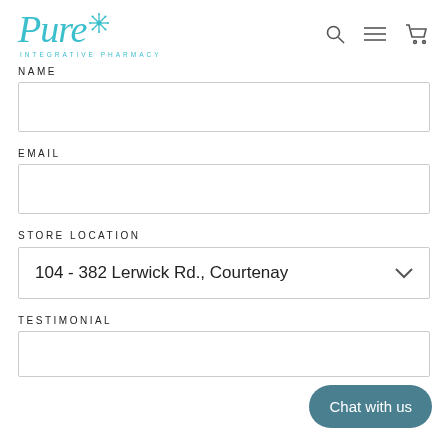[Figure (logo): Pure Integrative Pharmacy logo with teal script text and snowflake/asterisk icon]
NAME
EMAIL
STORE LOCATION
104 - 382 Lerwick Rd., Courtenay
TESTIMONIAL
Chat with us